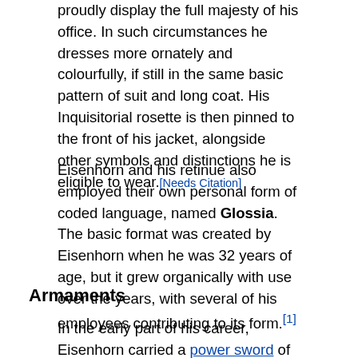proudly display the full majesty of his office. In such circumstances he dresses more ornately and colourfully, if still in the same basic pattern of suit and long coat. His Inquisitorial rosette is then pinned to the front of his jacket, alongside other symbols and distinctions he is eligible to wear.[Needs Citation]
Eisenhorn and his retinue also employed their own personal form of coded language, named Glossia. The basic format was created by Eisenhorn when he was 32 years of age, but it grew organically with use over the years, with several of his employees contributing to its form.[1]
Armaments
In the early part of his career, Eisenhorn carried a power sword of unusual design; instead of having a conventional